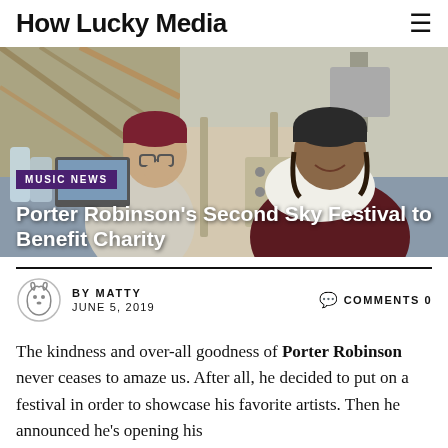How Lucky Media
[Figure (photo): Two people in a hospital room; one person wearing glasses and a dark red beanie sits beside a hospital bed where another person in a dark cap and maroon sweater is reclining and smiling.]
Porter Robinson's Second Sky Festival to Benefit Charity
MUSIC NEWS
BY MATTY   JUNE 5, 2019   COMMENTS 0
The kindness and over-all goodness of Porter Robinson never ceases to amaze us. After all, he decided to put on a festival in order to showcase his favorite artists. Then he announced he's opening his